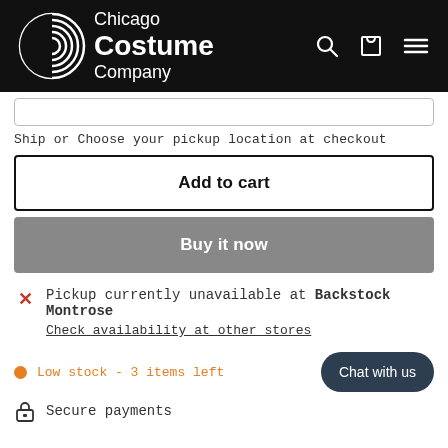[Figure (logo): Chicago Costume Company logo with concentric circles and white text on black header background, with search, cart, and menu icons on the right]
Ship or Choose your pickup location at checkout
Add to cart
Buy it now
Pickup currently unavailable at Backstock Montrose
Check availability at other stores
Low stock - 3 items left
Chat with us
Secure payments